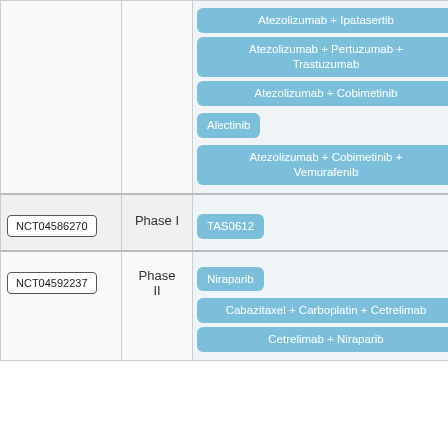| NCT ID | Phase | Drug(s) |
| --- | --- | --- |
|  |  | Atezolizumab + Ipatasertib
Atezolizumab + Pertuzumab + Trastuzumab
Atezolizumab + Cobimetinib
Alectinib
Atezolizumab + Cobimetinib + Vemurafenib |
| NCT04586270 | Phase I | TAS0612 |
| NCT04592237 | Phase II | Niraparib
Cabazitaxel + Carboplatin + Cetrelimab
Cetrelimab + Niraparib |